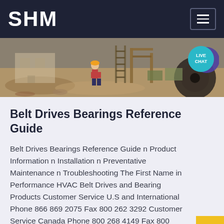SHM
[Figure (photo): Construction site photo showing workers and heavy equipment with LIVE CHAT badge overlay]
Belt Drives Bearings Reference Guide
Belt Drives Bearings Reference Guide n Product Information n Installation n Preventative Maintenance n Troubleshooting The First Name in Performance HVAC Belt Drives and Bearing Products Customer Service U.S and International Phone 866 869 2075 Fax 800 262 3292 Customer Service Canada Phone 800 268 4149 Fax 800 668 9005 Application Engineering Phone 800 626